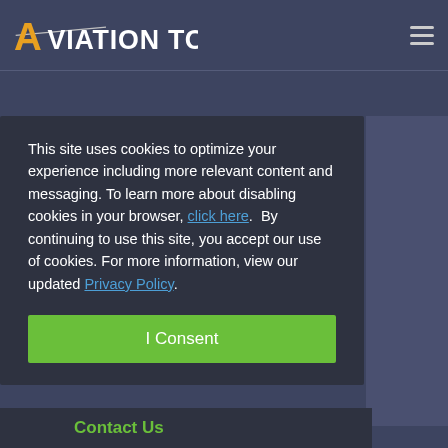Aviation Today
This site uses cookies to optimize your experience including more relevant content and messaging. To learn more about disabling cookies in your browser, click here. By continuing to use this site, you accept our use of cookies. For more information, view our updated Privacy Policy.
I Consent
Contact Us